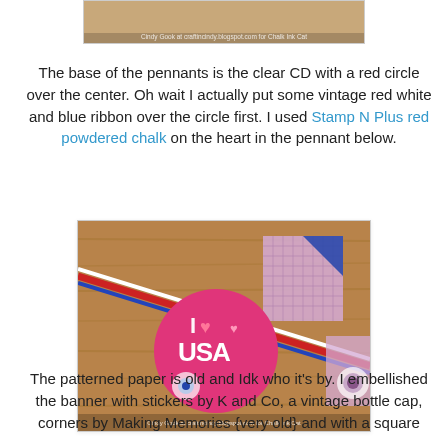[Figure (photo): Top cropped photo showing a craft pennant project with a watermark reading 'Cindy Gook at craftincindy.blogspot.com for Chalk Ink Cat']
The base of the pennants is the clear CD with a red circle over the center. Oh wait I actually put some vintage red white and blue ribbon over the circle first. I used Stamp N Plus red powdered chalk on the heart in the pennant below.
[Figure (photo): Photo of a patriotic banner/pennant with 'I Love USA' on a pink circle disc, red white and blue ribbon, gingham fabric backing on wood surface. Watermark: Cindy Gook at craftincindy.blogspot.com for Chalk Ink Cat]
The patterned paper is old and Idk who it's by. I embellished the banner with stickers by K and Co, a vintage bottle cap, corners by Making Memories {very old} and with a square